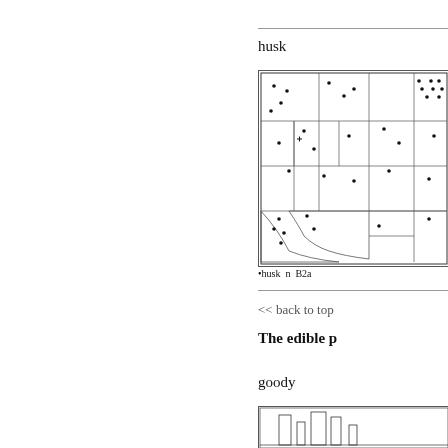husk
[Figure (map): A dot distribution map showing geographic locations of 'husk' usage across what appears to be a US state or region, with numerous small dots scattered across subdivided regions.]
•husk n B2a
<< back to top
The edible p
goody
[Figure (other): Partial view of another map or chart at the bottom of the page.]